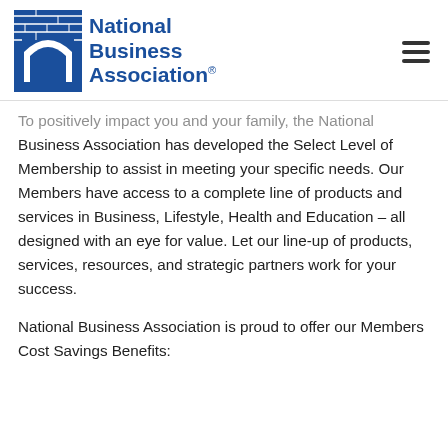[Figure (logo): National Business Association logo with blue arch/brick archway icon and blue text reading 'National Business Association' with registered trademark symbol]
To positively impact you and your family, the National Business Association has developed the Select Level of Membership to assist in meeting your specific needs. Our Members have access to a complete line of products and services in Business, Lifestyle, Health and Education – all designed with an eye for value. Let our line-up of products, services, resources, and strategic partners work for your success.
National Business Association is proud to offer our Members Cost Savings Benefits: